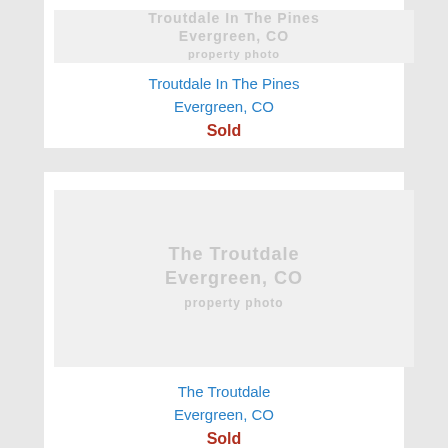[Figure (photo): Faded/watermarked photo of Troutdale In The Pines property]
Troutdale In The Pines
Evergreen, CO
Sold
[Figure (photo): Faded/watermarked photo of The Troutdale property]
The Troutdale
Evergreen, CO
Sold